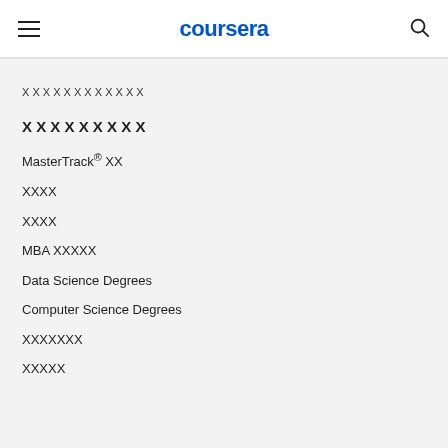coursera
🀆🀆🀆🀆🀆🀆🀆🀆🀆🀆🀆
🀆🀆🀆🀆🀆🀆🀆🀆🀆
MasterTrack® 🀆🀆
🀆🀆🀆🀆
🀆🀆🀆🀆
MBA 🀆🀆🀆🀆🀆
Data Science Degrees
Computer Science Degrees
🀆🀆🀆🀆🀆🀆🀆
🀆🀆🀆🀆🀆